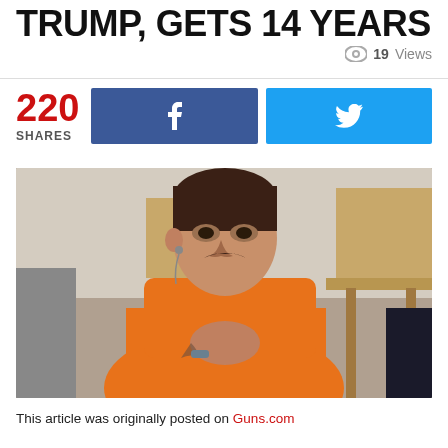TRUMP, GETS 14 YEARS
19 Views
220 SHARES
[Figure (photo): Man in orange prison jumpsuit seated in courtroom, hands clasped together, with courtroom furniture visible in background]
This article was originally posted on Guns.com